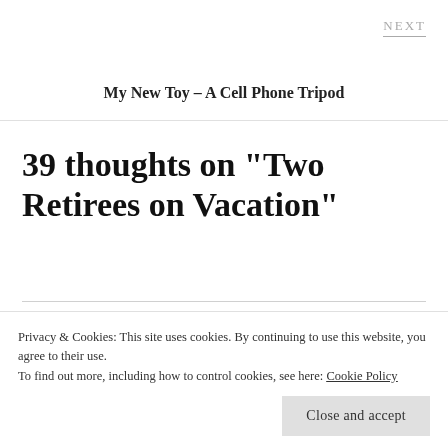NEXT
My New Toy – A Cell Phone Tripod
39 thoughts on “Two Retirees on Vacation”
Privacy & Cookies: This site uses cookies. By continuing to use this website, you agree to their use.
To find out more, including how to control cookies, see here: Cookie Policy
Close and accept